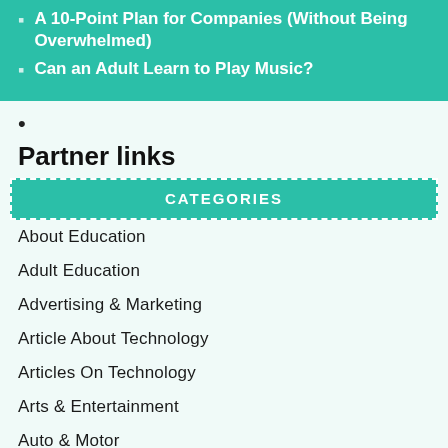A 10-Point Plan for Companies (Without Being Overwhelmed)
Can an Adult Learn to Play Music?
Partner links
CATEGORIES
About Education
Adult Education
Advertising & Marketing
Article About Technology
Articles On Technology
Arts & Entertainment
Auto & Motor